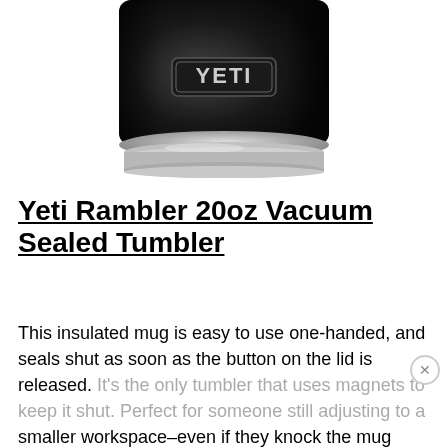[Figure (photo): Bottom portion of a black YETI Rambler tumbler/mug showing the YETI logo badge on the body and a silver stainless steel base, photographed from above on a white background.]
Yeti Rambler 20oz Vacuum Sealed Tumbler
This insulated mug is easy to use one-handed, and seals shut as soon as the button on the lid is released. It's the only tumbler that uses magnets to keep it shut. Perfect for someone still adjusting to a smaller workspace–even if they knock the mug over, it won't flood their laptop or papers.